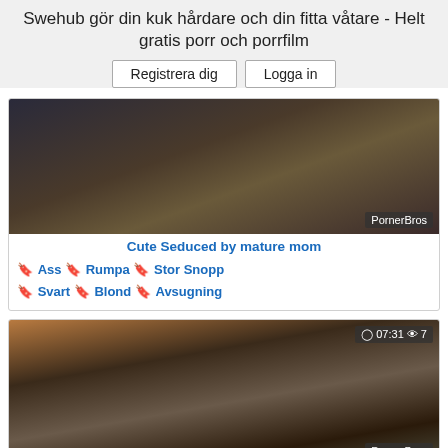Swehub gör din kuk hårdare och din fitta våtare - Helt gratis porr och porrfilm
Registrera dig   Logga in
[Figure (photo): Video thumbnail with PornerBros watermark]
Cute Seduced by mature mom
Ass  Rumpa  Stor Snopp  Svart  Blond  Avsugning
[Figure (photo): Video thumbnail showing 07:31 duration and 7 views, with PornerBros watermark]
Sexy chubby grandma extreme
Ass  Bbw  Rumpa  Stora Bröst  Avsugning
[Figure (photo): Partial video thumbnail at bottom of page]